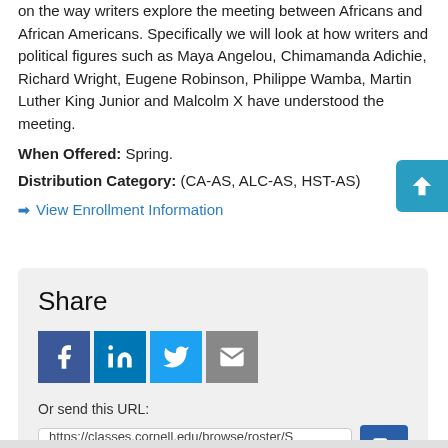on the way writers explore the meeting between Africans and African Americans. Specifically we will look at how writers and political figures such as Maya Angelou, Chimamanda Adichie, Richard Wright, Eugene Robinson, Philippe Wamba, Martin Luther King Junior and Malcolm X have understood the meeting.
When Offered: Spring.
Distribution Category: (CA-AS, ALC-AS, HST-AS)
> View Enrollment Information
Share
Or send this URL:
https://classes.cornell.edu/browse/roster/S